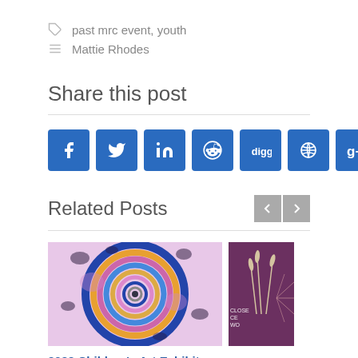past mrc event, youth
Mattie Rhodes
Share this post
[Figure (other): Row of social media share buttons: Facebook, Twitter, LinkedIn, Reddit, Digg, share icon, Google+, Email]
Related Posts
[Figure (photo): Colorful circular spiral art image for 2022 Children's Art Exhibit event]
2022 Children's Art Exhibit
FRIDAY, APRIL 1ST 5P-10P
1301 MOORE STREET, KANSAS CITY, MISSOURI 64108
[Figure (photo): Partially visible purple event image on the right side]